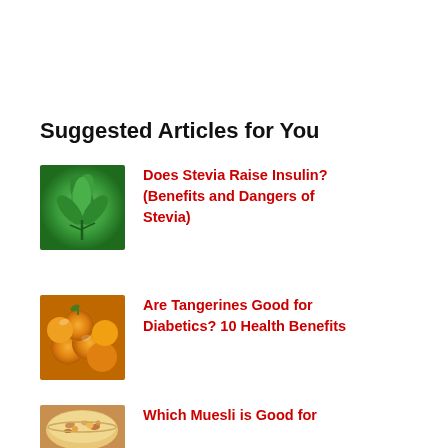Suggested Articles for You
[Figure (photo): Green stevia plant leaves thumbnail]
Does Stevia Raise Insulin? (Benefits and Dangers of Stevia)
[Figure (photo): Pile of orange tangerines thumbnail]
Are Tangerines Good for Diabetics? 10 Health Benefits
[Figure (photo): Bowl of muesli with fruit thumbnail]
Which Muesli is Good for